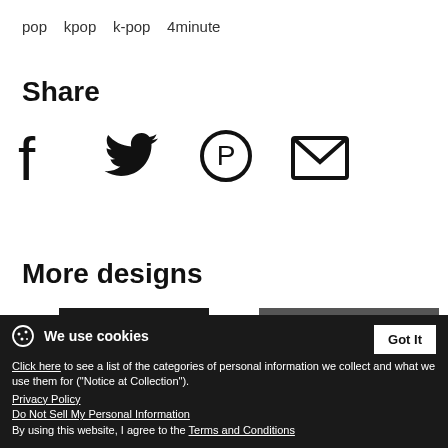pop   kpop   k-pop   4minute
Share
[Figure (infographic): Social share icons: Facebook, Twitter, Pinterest, Email (envelope)]
More designs
[Figure (photo): Two product thumbnails: left shows a logo design in black on dark background, right shows MBLAQ logo in white/red on grey background]
Logo in Black Women's V-Neck
MBLAQ A: in White/Red on Women's Hoodie
We use cookies — Click here to see a list of the categories of personal information we collect and what we use them for ("Notice at Collection"). Privacy Policy. Do Not Sell My Personal Information. By using this website, I agree to the Terms and Conditions.